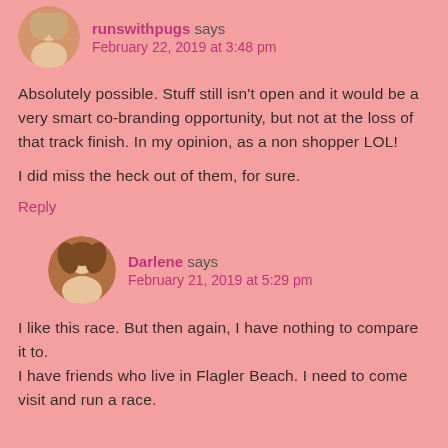[Figure (photo): Circular avatar photo of a woman with blonde hair]
runswithpugs says
February 22, 2019 at 3:48 pm
Absolutely possible. Stuff still isn't open and it would be a very smart co-branding opportunity, but not at the loss of that track finish. In my opinion, as a non shopper LOL!

I did miss the heck out of them, for sure.
Reply
[Figure (photo): Circular avatar photo of a woman with brown hair]
Darlene says
February 21, 2019 at 5:29 pm
I like this race. But then again, I have nothing to compare it to.
I have friends who live in Flagler Beach. I need to come visit and run a race.